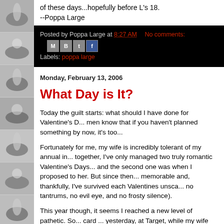[Figure (photo): Sidebar with multiple grayscale thumbnail photos of a bowl/spoon arrangement, stacked vertically]
of these days...hopefully before L's 18.
--Poppa Large
Posted by Poppa Large at 8:27 AM   No comments:   Labels: poppa large
Monday, February 13, 2006
What Day is It?
Today the guilt starts: what should I have done for Valentine's D... men know that if you haven't planned something by now, it's too...
Fortunately for me, my wife is incredibly tolerant of my annual in... together, I've only managed two truly romantic Valentine's Days... and the second one was when I proposed to her. But since then... memorable and, thankfully, I've survived each Valentines unsca... no tantrums, no evil eye, and no frosty silence).
This year though, it seems I reached a new level of pathetic. So... card ... yesterday, at Target, while my wife and daughter were p...